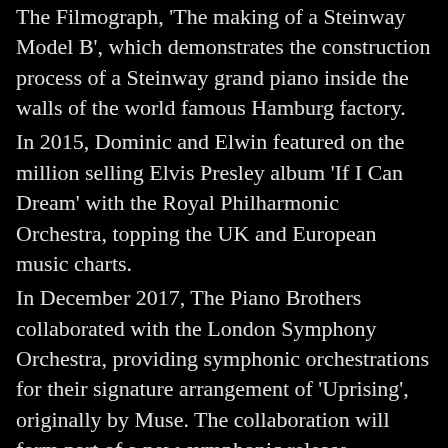The Filmograph, 'The making of a Steinway Model B', which demonstrates the construction process of a Steinway grand piano inside the walls of the world famous Hamburg factory.
In 2015, Dominic and Elwin featured on the million selling Elvis Presley album 'If I Can Dream' with the Royal Philharmonic Orchestra, topping the UK and European music charts.
In December 2017, The Piano Brothers collaborated with the London Symphony Orchestra, providing symphonic orchestrations for their signature arrangement of 'Uprising', originally by Muse. The collaboration will form part of a new symphonic release featuring The Piano Brothers with the LSO.
CONCERT DESCRIPTION